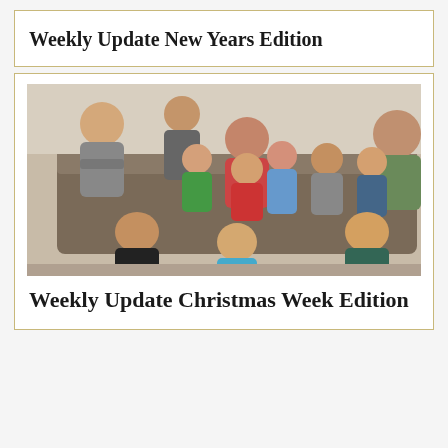Weekly Update New Years Edition
[Figure (photo): Family group photo with multiple children and two adults sitting and kneeling on and around a couch]
Weekly Update Christmas Week Edition